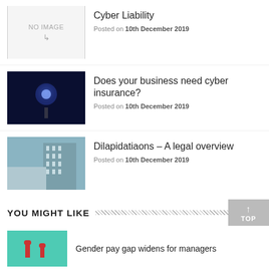[Figure (screenshot): No image placeholder thumbnail for Cyber Liability article]
Cyber Liability
Posted on 10th December 2019
[Figure (photo): Dark image with glowing globe/light for cyber insurance article]
Does your business need cyber insurance?
Posted on 10th December 2019
[Figure (photo): Building exterior with blue-grey tones for Dilapidations article]
Dilapidatiaons – A legal overview
Posted on 10th December 2019
[Figure (photo): Interior architectural shot for An Introduction to Dilapidations]
An Introduction to Dilapidations
Posted on 10th December 2019
[Figure (photo): Black and white aerial city view for Famous insurance claims article]
Famous insurance claims of the past
Posted on 10th December 2019
YOU MIGHT LIKE
[Figure (photo): Teal/green image with figures for Gender pay gap article]
Gender pay gap widens for managers